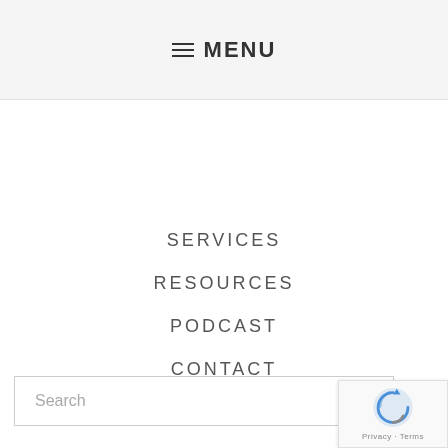≡ MENU
SERVICES
RESOURCES
PODCAST
CONTACT
Search